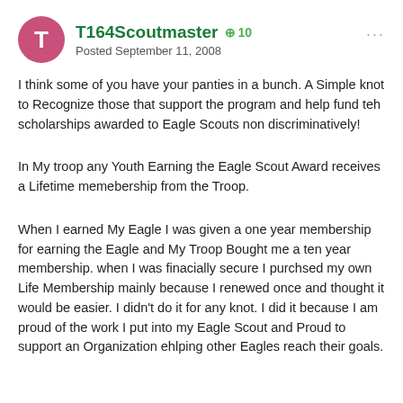T164Scoutmaster +10 Posted September 11, 2008
I think some of you have your panties in a bunch. A Simple knot to Recognize those that support the program and help fund teh scholarships awarded to Eagle Scouts non discriminatively!
In My troop any Youth Earning the Eagle Scout Award receives a Lifetime memebership from the Troop.
When I earned My Eagle I was given a one year membership for earning the Eagle and My Troop Bought me a ten year membership. when I was finacially secure I purchsed my own Life Membership mainly because I renewed once and thought it would be easier. I didn't do it for any knot. I did it because I am proud of the work I put into my Eagle Scout and Proud to support an Organization ehlping other Eagles reach their goals.